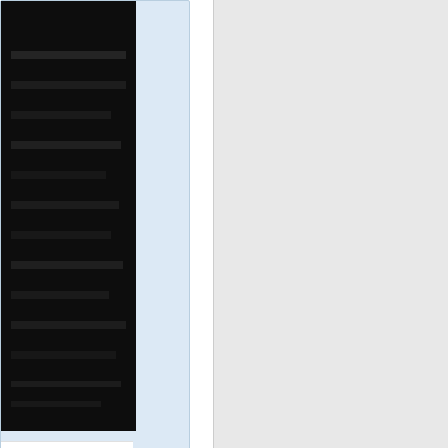[Figure (photo): Dark/black product image visible in top-left area, appears to be a book or dark-colored product]
[Figure (other): Yellow button element below product card]
If you
l for ...
ally